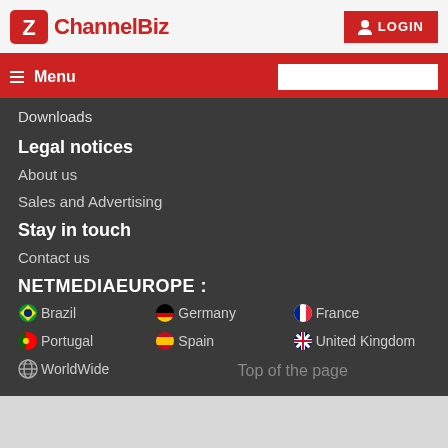ChannelBiz | LOGIN
Menu
Downloads
Legal notices
About us
Sales and Advertising
Stay in touch
Contact us
NETMEDIAEUROPE :
Brazil
Germany
France
Portugal
Spain
United Kingdom
WorldWide
Top of the page